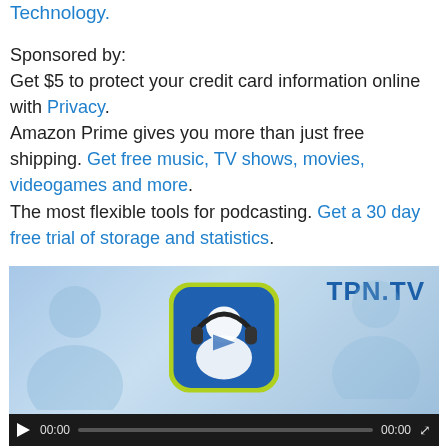Technology.
Sponsored by:
Get $5 to protect your credit card information online with Privacy.
Amazon Prime gives you more than just free shipping. Get free music, TV shows, movies, videogames and more.
The most flexible tools for podcasting. Get a 30 day free trial of storage and statistics.
[Figure (screenshot): Video player showing TPN.TV branding with podcast/headphone icon in center, silhouette figures on left and right background, and video controls bar at bottom showing play button, 00:00 timecode, progress bar, and 00:00 end time with expand icon.]